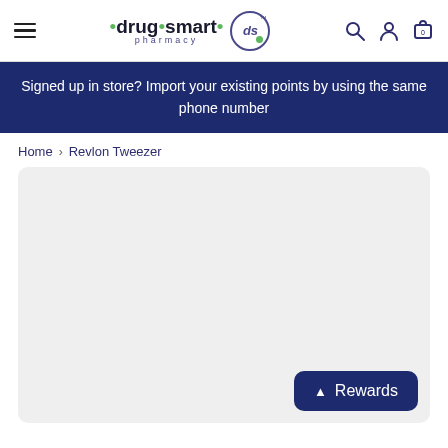drug smart pharmacy — navigation header with hamburger menu, logo, search, user, and cart icons
Signed up in store? Import your existing points by using the same phone number
Home > Revlon Tweezer
[Figure (screenshot): Large light grey product image placeholder area with rounded corners]
Rewards